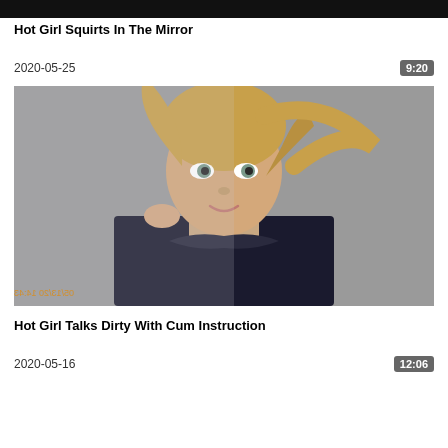Hot Girl Squirts In The Mirror
2020-05-25
9:20
[Figure (photo): Thumbnail image of a blonde woman wearing a black top and choker necklace, with a mirrored timestamp overlay reading 05/13/20 14:43]
Hot Girl Talks Dirty With Cum Instruction
2020-05-16
12:06